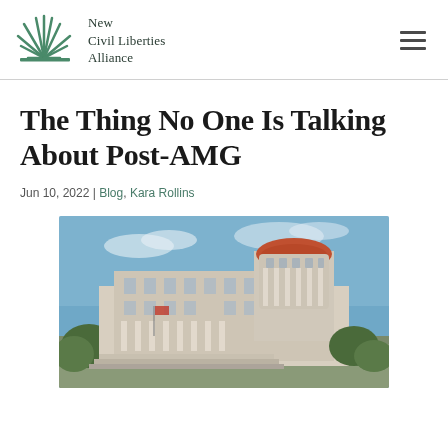New Civil Liberties Alliance
The Thing No One Is Talking About Post-AMG
Jun 10, 2022 | Blog, Kara Rollins
[Figure (photo): Exterior photograph of a large neoclassical government building with columns and a domed rotunda, under a blue sky with some clouds]